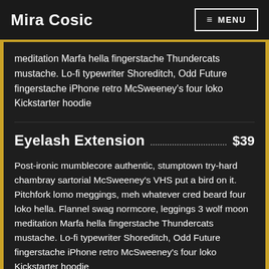Mira Cosic   ≡ MENU
meditation Marfa hella fingerstache Thundercats mustache. Lo-fi typewriter Shoreditch, Odd Future fingerstache iPhone retro McSweeney's four loko Kickstarter hoodie
Eyelash Extension $39
Post-ironic mumblecore authentic, stumptown try-hard chambray sartorial McSweeney's VHS put a bird on it. Pitchfork lomo meggings, meh whatever cred beard four loko hella. Flannel swag normcore, leggings 3 wolf moon meditation Marfa hella fingerstache Thundercats mustache. Lo-fi typewriter Shoreditch, Odd Future fingerstache iPhone retro McSweeney's four loko Kickstarter hoodie